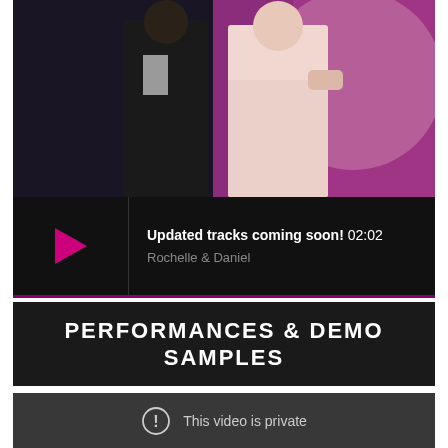[Figure (photo): Two dancers — one in a black suit and one in a white/pink dress — dancing together against a purple/pink background]
[Figure (screenshot): Audio player widget with pink play button, showing track title 'Updated tracks coming soon! 02:02' and artist 'Rochelle & Daniel' on black background]
PERFORMANCES & DEMO SAMPLES
[Figure (screenshot): Video player showing 'This video is private' message with exclamation icon on dark grey background]